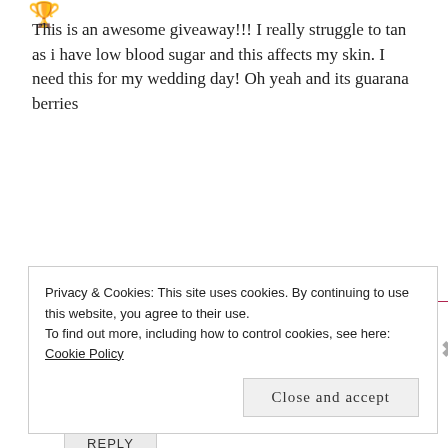[Figure (logo): Small decorative golden/brown icon at top left]
This is an awesome giveaway!!! I really struggle to tan as i have low blood sugar and this affects my skin. I need this for my wedding day! Oh yeah and its guarana berries
REPLY
[Figure (illustration): Blue geometric/diamond pattern circular avatar for user Jessica]
JESSICA
September 15, 2016 at 5:41 pm
Privacy & Cookies: This site uses cookies. By continuing to use this website, you agree to their use.
To find out more, including how to control cookies, see here: Cookie Policy
Close and accept